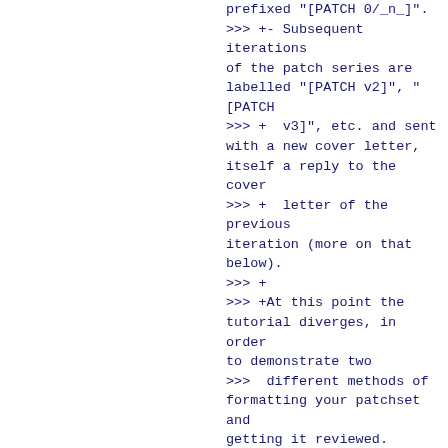prefixed "[PATCH 0/_n_]".
>>> +- Subsequent iterations of the patch series are labelled "[PATCH v2]", "[PATCH
>>> +  v3]", etc. and sent with a new cover letter, itself a reply to the cover
>>> +  letter of the previous iteration (more on that below).
>>> +
>>> +At this point the tutorial diverges, in order to demonstrate two
>>>  different methods of formatting your patchset and getting it reviewed.
>>>
>>
>> In case of single-patch series submissions, the anatomy is simple: first
>> the email subject is commit message title prefixed with "[PATCH]" or
>> "[PATCH v_n_]" (in case of n-th iteration), then commit message and the
>> actual diff.